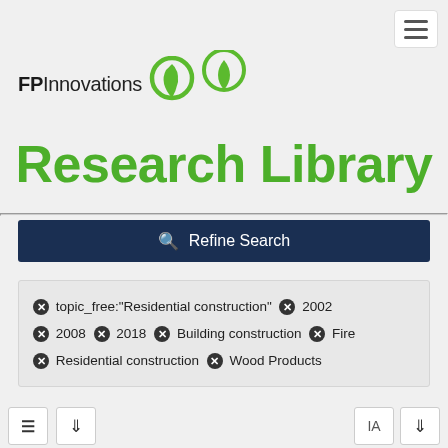[Figure (logo): FPInnovations logo with green circular leaf/teardrop icon and bold FP text]
Research Library
Refine Search
topic_free:"Residential construction"
2002
2008
2018
Building construction
Fire
Residential construction
Wood Products